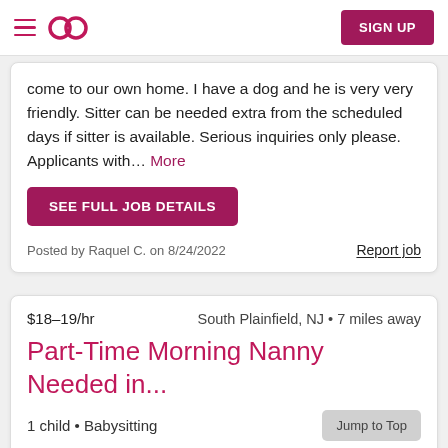Sittercity navigation header with hamburger menu, logo, and SIGN UP button
come to our own home. I have a dog and he is very very friendly. Sitter can be needed extra from the scheduled days if sitter is available. Serious inquiries only please. Applicants with... More
SEE FULL JOB DETAILS
Posted by Raquel C. on 8/24/2022
Report job
$18–19/hr    South Plainfield, NJ • 7 miles away
Part-Time Morning Nanny Needed in...
1 child • Babysitting
Jump to Top